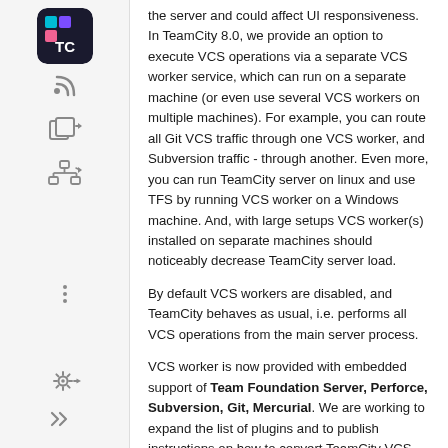[Figure (logo): TeamCity TC logo - dark square with TC letters and colored squares icon, rounded corners]
the server and could affect UI responsiveness. In TeamCity 8.0, we provide an option to execute VCS operations via a separate VCS worker service, which can run on a separate machine (or even use several VCS workers on multiple machines). For example, you can route all Git VCS traffic through one VCS worker, and Subversion traffic - through another. Even more, you can run TeamCity server on linux and use TFS by running VCS worker on a Windows machine. And, with large setups VCS worker(s) installed on separate machines should noticeably decrease TeamCity server load.
By default VCS workers are disabled, and TeamCity behaves as usual, i.e. performs all VCS operations from the main server process.
VCS worker is now provided with embedded support of Team Foundation Server, Perforce, Subversion, Git, Mercurial. We are working to expand the list of plugins and to publish instructions on how to convert TeamCity VCS plugin to work under it.